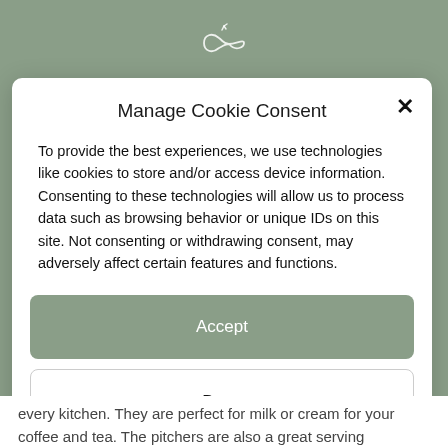[Figure (logo): Decorative infinity/script logo in white on sage green background]
Manage Cookie Consent
To provide the best experiences, we use technologies like cookies to store and/or access device information. Consenting to these technologies will allow us to process data such as browsing behavior or unique IDs on this site. Not consenting or withdrawing consent, may adversely affect certain features and functions.
Accept
Deny
View preferences
Privacy Policy   Imprint
every kitchen. They are perfect for milk or cream for your coffee and tea. The pitchers are also a great serving